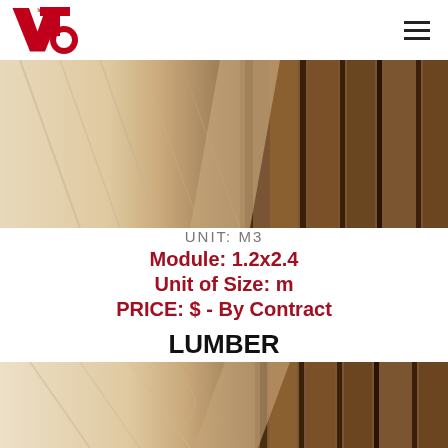VTO Interbos logo and navigation
[Figure (photo): Close-up photo of wood panels showing light-colored and dark-striped lumber surfaces side by side]
UNIT: M3
Module: 1.2x2.4
Unit of Size: m
PRICE: $ - By Contract
LUMBER
[Figure (photo): Close-up photo of wood panels showing light-colored and dark-striped lumber surfaces, similar to top image]